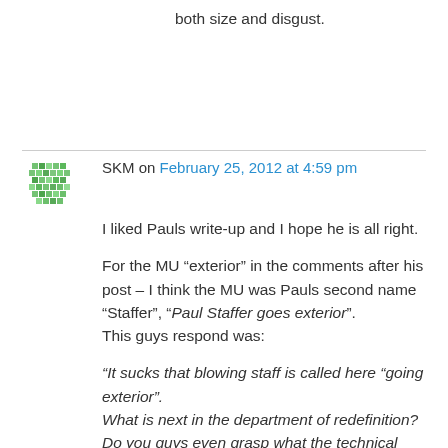both size and disgust.
SKM on February 25, 2012 at 4:59 pm
I liked Pauls write-up and I hope he is all right.

For the MU “exterior” in the comments after his post – I think the MU was Pauls second name “Staffer”, “Paul Staffer goes exterior”.
This guys respond was:

“It sucks that blowing staff is called here “going exterior”.
What is next in the department of redefinition?
Do you guys even grasp what the technical definition for going exterior per LRH is?”